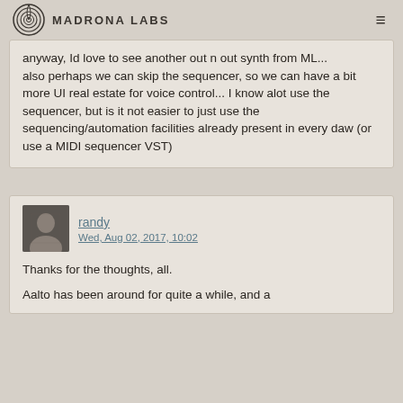Madrona Labs
anyway, Id love to see another out n out synth from ML...
also perhaps we can skip the sequencer, so we can have a bit more UI real estate for voice control... I know alot use the sequencer, but is it not easier to just use the sequencing/automation facilities already present in every daw (or use a MIDI sequencer VST)
randy
Wed, Aug 02, 2017, 10:02
Thanks for the thoughts, all.
Aalto has been around for quite a while, and a